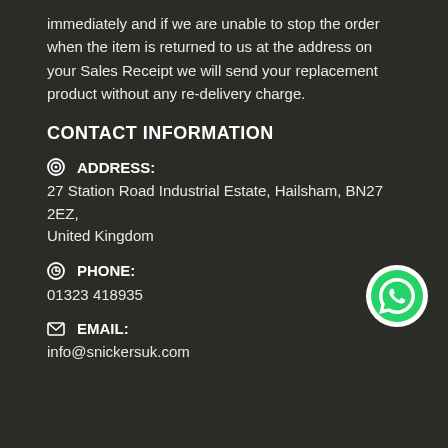immediately and if we are unable to stop the order when the item is returned to us at the address on your Sales Receipt we will send your replacement product without any re-delivery charge.
CONTACT INFORMATION
ADDRESS: 27 Station Road Industrial Estate, Hailsham, BN27 2EZ, United Kingdom
PHONE: 01323 418935
EMAIL: info@snickersuk.com
[Figure (logo): WhatsApp logo button — green circle with white phone handset icon]